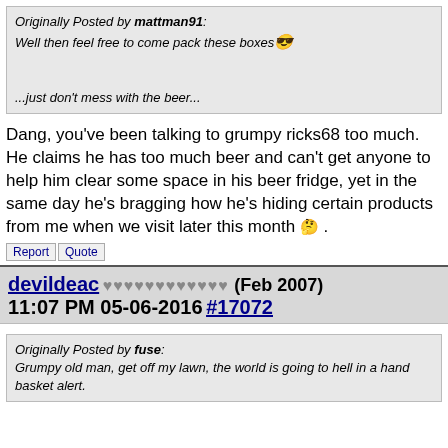Originally Posted by mattman91: Well then feel free to come pack these boxes 😎 ...just don't mess with the beer...
Dang, you've been talking to grumpy ricks68 too much. He claims he has too much beer and can't get anyone to help him clear some space in his beer fridge, yet in the same day he's bragging how he's hiding certain products from me when we visit later this month 🤔 .
Report | Quote
devildeac ♥♥♥♥♥♥♥♥♥♥♥♥ (Feb 2007) 11:07 PM 05-06-2016 #17072
Originally Posted by fuse: Grumpy old man, get off my lawn, the world is going to hell in a hand basket alert.